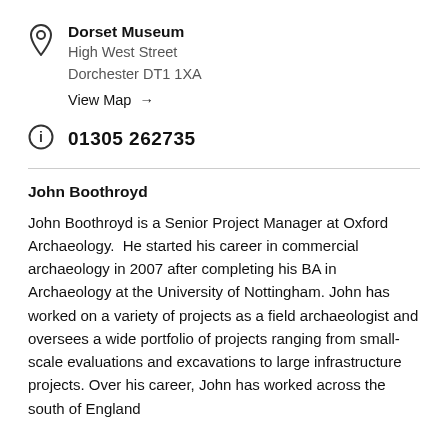Dorset Museum
High West Street
Dorchester DT1 1XA
View Map →
01305 262735
John Boothroyd
John Boothroyd is a Senior Project Manager at Oxford Archaeology.  He started his career in commercial archaeology in 2007 after completing his BA in Archaeology at the University of Nottingham. John has worked on a variety of projects as a field archaeologist and oversees a wide portfolio of projects ranging from small-scale evaluations and excavations to large infrastructure projects. Over his career, John has worked across the south of England